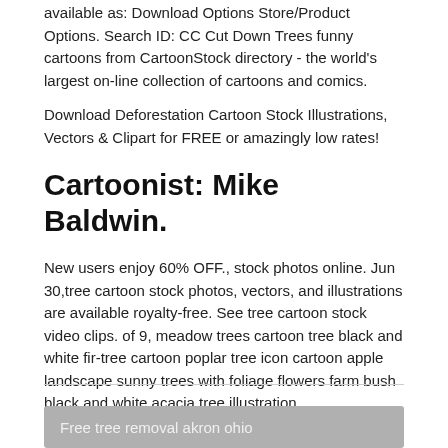available as: Download Options Store/Product Options. Search ID: CC Cut Down Trees funny cartoons from CartoonStock directory - the world's largest on-line collection of cartoons and comics.
Download Deforestation Cartoon Stock Illustrations, Vectors & Clipart for FREE or amazingly low rates!
Cartoonist: Mike Baldwin.
New users enjoy 60% OFF., stock photos online. Jun 30,tree cartoon stock photos, vectors, and illustrations are available royalty-free. See tree cartoon stock video clips. of 9, meadow trees cartoon tree black and white fir-tree cartoon poplar tree icon cartoon apple landscape sunny trees with foliage flowers farm bush black and white acacia tree illustration.
Free tree removal akron ohio